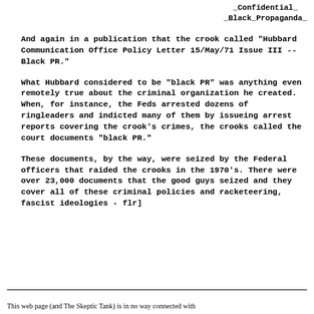_Confidential_
_Black_Propaganda_
And again in a publication that the crook called "Hubbard Communication Office Policy Letter 15/May/71 Issue III -- Black PR."
What Hubbard considered to be "black PR" was anything even remotely true about the criminal organization he created. When, for instance, the Feds arrested dozens of ringleaders and indicted many of them by issueing arrest reports covering the crook's crimes, the crooks called the court documents "black PR."
These documents, by the way, were seized by the Federal officers that raided the crooks in the 1970's. There were over 23,000 documents that the good guys seized and they cover all of these criminal policies and racketeering, fascist ideologies - flr]
This web page (and The Skeptic Tank) is in no way connected with